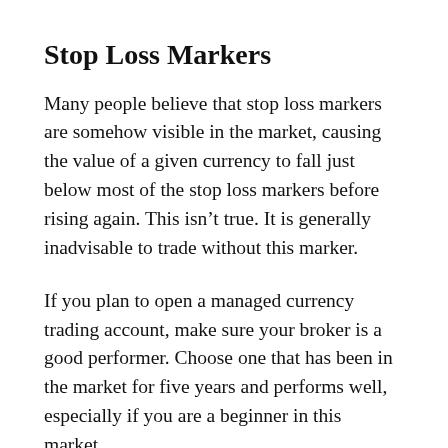Stop Loss Markers
Many people believe that stop loss markers are somehow visible in the market, causing the value of a given currency to fall just below most of the stop loss markers before rising again. This isn't true. It is generally inadvisable to trade without this marker.
If you plan to open a managed currency trading account, make sure your broker is a good performer. Choose one that has been in the market for five years and performs well, especially if you are a beginner in this market.